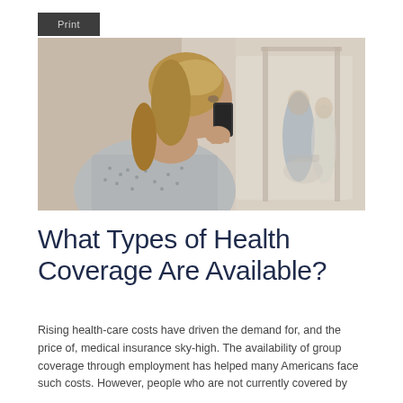Print
[Figure (photo): A woman in a hospital gown talking on a mobile phone in profile, with blurred medical staff and a patient in a wheelchair visible in the background hallway.]
What Types of Health Coverage Are Available?
Rising health-care costs have driven the demand for, and the price of, medical insurance sky-high. The availability of group coverage through employment has helped many Americans face such costs. However, people who are not currently covered by